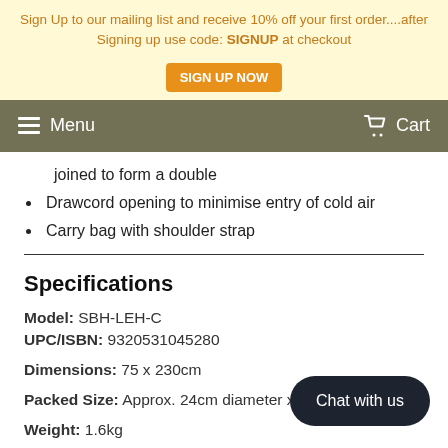Sign Up to our mailing list and receive 10% off your first order....after Signing up use code: SIGNUP at checkout  SIGN UP NOW
Menu  Cart
joined to form a double
Drawcord opening to minimise entry of cold air
Carry bag with shoulder strap
Specifications
Model: SBH-LEH-C
UPC/ISBN: 9320531045280
Dimensions: 75 x 230cm
Packed Size: Approx. 24cm diameter x 37
Weight: 1.6kg
Chat with us